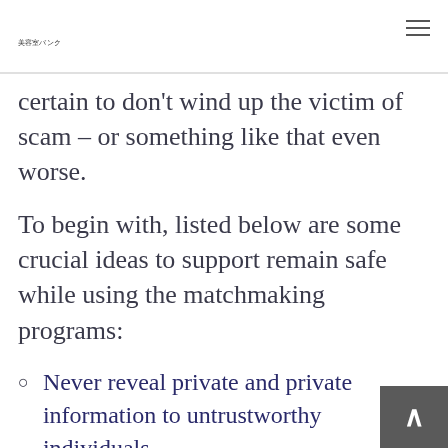美容室バンク
certain to don't wind up the victim of scam – or something like that even worse.
To begin with, listed below are some crucial ideas to support remain safe while using the matchmaking programs:
Never reveal private and private information to untrustworthy individuals.
If someone appears too good to be real,